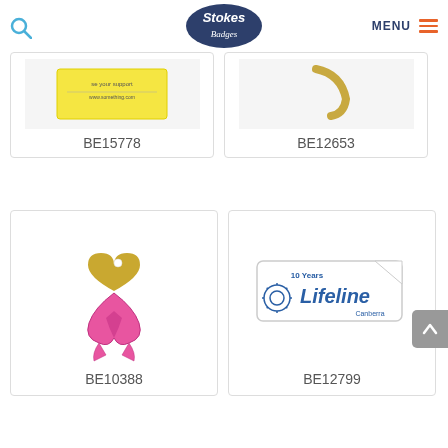Stokes Badges — MENU header with search and hamburger menu
[Figure (photo): Partial badge product card with yellow background badge — product code BE15778]
BE15778
[Figure (photo): Partial badge product card with gold curved shape badge — product code BE12653]
BE12653
[Figure (photo): Pink ribbon awareness badge with gold heart shape — product code BE10388]
BE10388
[Figure (photo): Lifeline Canberra 10 Years badge — product code BE12799]
BE12799